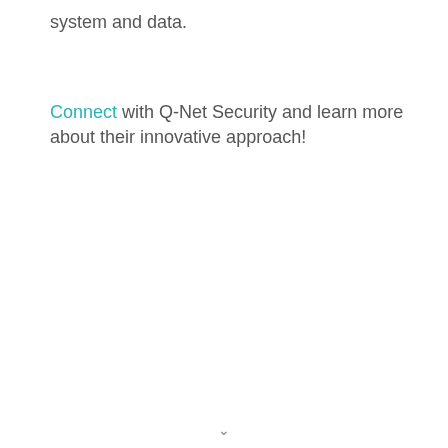system and data.
Connect with Q-Net Security and learn more about their innovative approach!